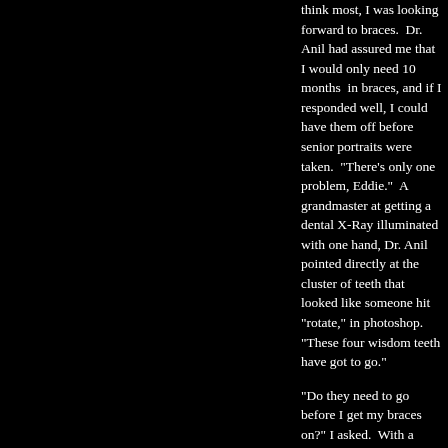[Figure (photo): Dark/black image panel occupying the left portion of the page]
think most, I was looking forward to braces. Dr. Anil had assured me that I would only need 10 months in braces, and if I responded well, I could have them off before senior portraits were taken. "There's only one problem, Eddie." A grandmaster at getting a dental X-Ray illuminated with one hand, Dr. Anil pointed directly at the cluster of teeth that looked like someone hit "rotate," in photoshop. "These four wisdom teeth have got to go."
"Do they need to go before I get my braces on?" I asked. With a familiar sigh that comes from having answered this question to numerous